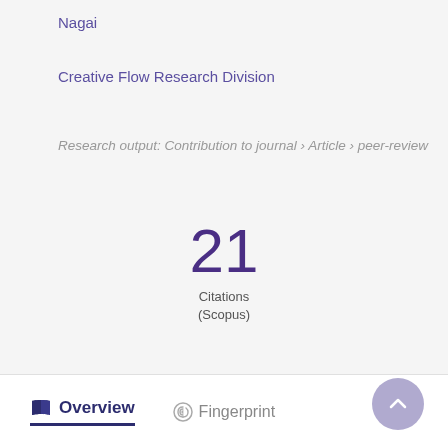Nagai
Creative Flow Research Division
Research output: Contribution to journal › Article › peer-review
21
Citations
(Scopus)
Overview   Fingerprint